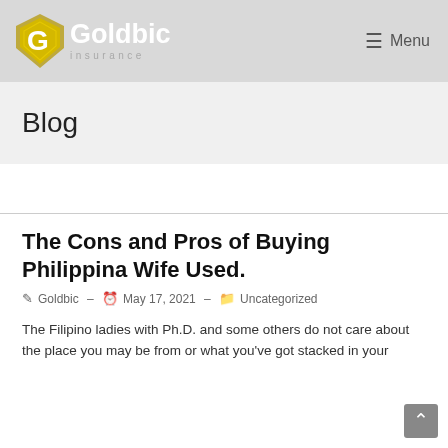[Figure (logo): Goldbic Insurance logo with gold shield/G icon and white text]
≡ Menu
Blog
The Cons and Pros of Buying Philippina Wife Used.
✎ Goldbic  -  🕐 May 17, 2021  -  📁 Uncategorized
The Filipino ladies with Ph.D. and some others do not care about the place you may be from or what you've got stacked in your